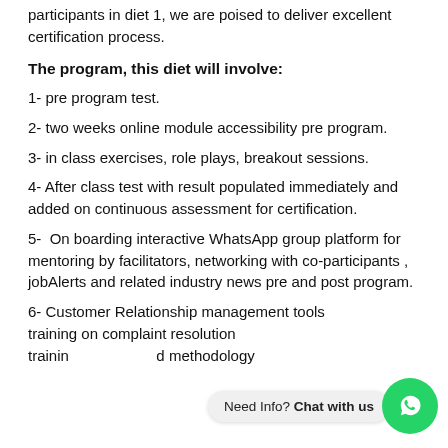participants in diet 1, we are poised to deliver excellent certification process.
The program, this diet will involve:
1- pre program test.
2- two weeks online module accessibility pre program.
3- in class exercises, role plays, breakout sessions.
4- After class test with result populated immediately and added on continuous assessment for certification.
5-  On boarding interactive WhatsApp group platform for mentoring by facilitators, networking with co-participants , jobAlerts and related industry news pre and post program.
6- Customer Relationship management tools training on complaint resolution training and methodology